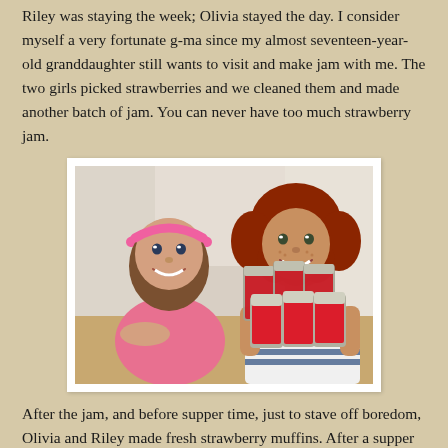Riley was staying the week; Olivia stayed the day. I consider myself a very fortunate g-ma since my almost seventeen-year-old granddaughter still wants to visit and make jam with me. The two girls picked strawberries and we cleaned them and made another batch of jam. You can never have too much strawberry jam.
[Figure (photo): Two smiling girls holding jars of homemade strawberry jam. The younger girl on the left wears a pink shirt and pink headband. The older girl on the right has curly red hair and holds multiple mason jars filled with red jam.]
After the jam, and before supper time, just to stave off boredom, Olivia and Riley made fresh strawberry muffins. After a supper of homemade macaroni and cheese with smoked sausage, Olivia